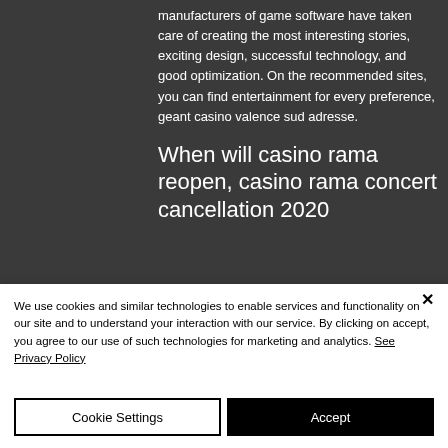manufacturers of game software have taken care of creating the most interesting stories, exciting design, successful technology, and good optimization. On the recommended sites, you can find entertainment for every preference, geant casino valence sud adresse.
When will casino rama reopen, casino rama concert cancellation 2020
We use cookies and similar technologies to enable services and functionality on our site and to understand your interaction with our service. By clicking on accept, you agree to our use of such technologies for marketing and analytics. See Privacy Policy